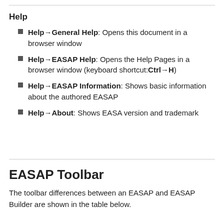Help
Help→General Help: Opens this document in a browser window
Help→EASAP Help: Opens the Help Pages in a browser window (keyboard shortcut: Ctrl→H)
Help→EASAP Information: Shows basic information about the authored EASAP
Help→About: Shows EASA version and trademark
EASAP Toolbar
The toolbar differences between an EASAP and EASAP Builder are shown in the table below.